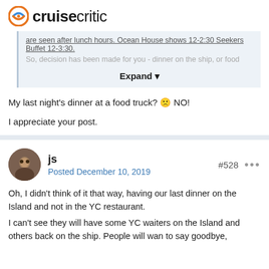cruisecritic
are seen after lunch hours.  Ocean House shows 12-2:30 Seekers Buffet 12-3:30.
So, decision has been made for you - dinner on the ship, or food
Expand
My last night's dinner at a food truck?  🙁  NO!
I appreciate your post.
js
Posted December 10, 2019
#528
Oh, I didn't think of it that way, having our last dinner on the Island and not in the YC restaurant.
I can't see they will have some YC waiters on the Island and others back on the ship.  People will wan to say goodbye,